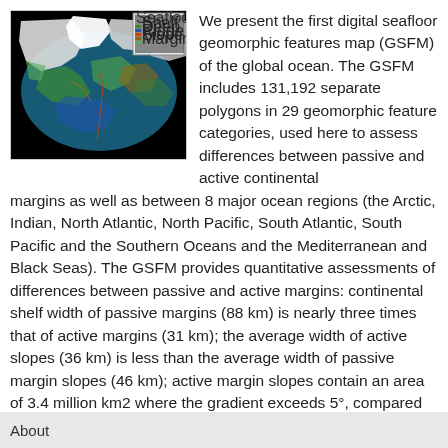[Figure (map): Color map of the global ocean seafloor geomorphic features, showing the Arctic/North Atlantic region with colored polygons on a black background, with a small inset legend in the upper right corner.]
We present the first digital seafloor geomorphic features map (GSFM) of the global ocean. The GSFM includes 131,192 separate polygons in 29 geomorphic feature categories, used here to assess differences between passive and active continental margins as well as between 8 major ocean regions (the Arctic, Indian, North Atlantic, North Pacific, South Atlantic, South Pacific and the Southern Oceans and the Mediterranean and Black Seas). The GSFM provides quantitative assessments of differences between passive and active margins: continental shelf width of passive margins (88 km) is nearly three times that of active margins (31 km); the average width of active slopes (36 km) is less than the average width of passive margin slopes (46 km); active margin slopes contain an area of 3.4 million km2 where the gradient exceeds 5°, compared with 1.3 million km2 on passive margin slopes: the continental
About